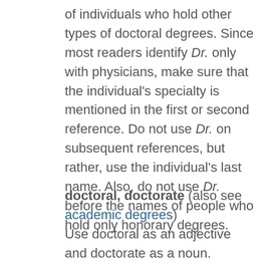of individuals who hold other types of doctoral degrees. Since most readers identify Dr. only with physicians, make sure that the individual's specialty is mentioned in the first or second reference. Do not use Dr. on subsequent references, but rather, use the individual's last name. Also, do not use Dr. before the names of people who hold only honorary degrees.
doctoral, doctorate (also see academic degrees)
Use doctoral as an adjective and doctorate as a noun.